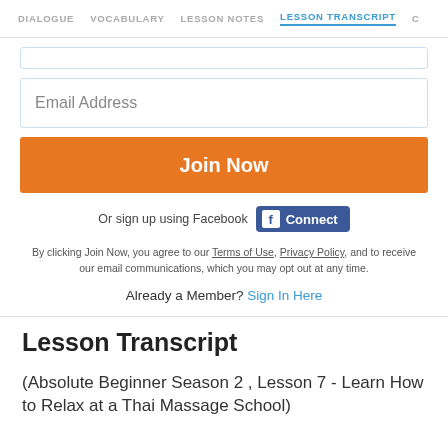DIALOGUE  VOCABULARY  LESSON NOTES  LESSON TRANSCRIPT  C
Email Address
Join Now
Or sign up using Facebook  Connect
By clicking Join Now, you agree to our Terms of Use, Privacy Policy, and to receive our email communications, which you may opt out at any time.
Already a Member? Sign In Here
Lesson Transcript
(Absolute Beginner Season 2 , Lesson 7 - Learn How to Relax at a Thai Massage School)